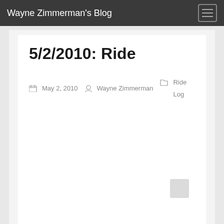Wayne Zimmerman's Blog
5/2/2010: Ride
May 2, 2010  Wayne Zimmerman  Ride Log